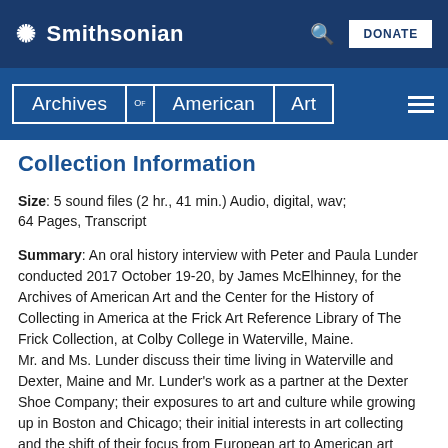Smithsonian
[Figure (logo): Archives of American Art logo with navigation bar]
Collection Information
Size: 5 sound files (2 hr., 41 min.) Audio, digital, wav; 64 Pages, Transcript
Summary: An oral history interview with Peter and Paula Lunder conducted 2017 October 19-20, by James McElhinney, for the Archives of American Art and the Center for the History of Collecting in America at the Frick Art Reference Library of The Frick Collection, at Colby College in Waterville, Maine. Mr. and Ms. Lunder discuss their time living in Waterville and Dexter, Maine and Mr. Lunder's work as a partner at the Dexter Shoe Company; their exposures to art and culture while growing up in Boston and Chicago; their initial interests in art collecting and the shift of their focus from European art to American art